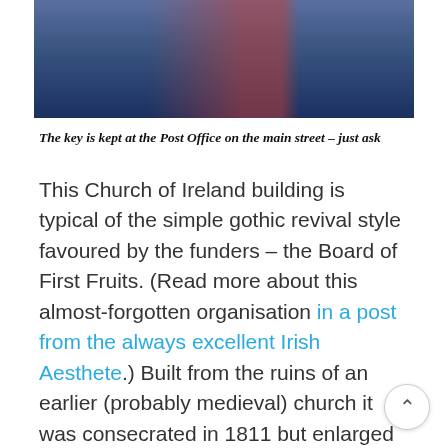[Figure (photo): Partial photo showing a person in a blue jacket with a red and white patterned shirt, against a dark background — only the bottom portion of the image is visible]
The key is kept at the Post Office on the main street – just ask
This Church of Ireland building is typical of the simple gothic revival style favoured by the funders – the Board of First Fruits. (Read more about this almost-forgotten organisation in a post from the always excellent Irish Aesthete.) Built from the ruins of an earlier (probably medieval) church it was consecrated in 1811 but enlarged later in the 19th century. The pointed-arch windows and the square tower with louvre vents are unremarkable features on the exterior, but open the door and step inside and you enter another world.